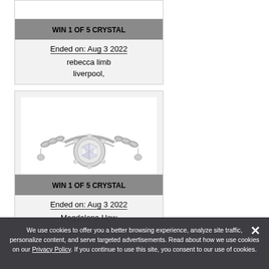WIN 1 OF 5 CRYSTAL
Ended on: Aug 3 2022
rebecca limb
liverpool,
[Figure (photo): A silver crystal bracelet with a round crystal centerpiece surrounded by smaller crystals, attached to a chain link bracelet]
WIN 1 OF 5 CRYSTAL
Ended on: Aug 3 2022
Magdalena How
We use cookies to offer you a better browsing experience, analyze site traffic, personalize content, and serve targeted advertisements. Read about how we use cookies on our Privacy Policy. If you continue to use this site, you consent to our use of cookies.